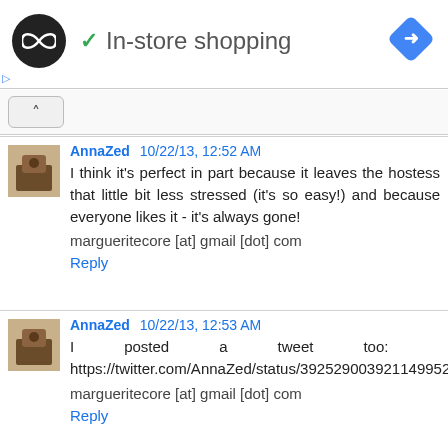[Figure (logo): Black circle logo with infinity/loop arrow symbol, checkmark and 'In-store shopping' text, blue diamond navigation icon on right]
AnnaZed 10/22/13, 12:52 AM
I think it's perfect in part because it leaves the hostess that little bit less stressed (it's so easy!) and because everyone likes it - it's always gone!

margueritecore [at] gmail [dot] com

Reply
AnnaZed 10/22/13, 12:53 AM
I posted a tweet too: https://twitter.com/AnnaZed/status/392529003921149952

margueritecore [at] gmail [dot] com

Reply